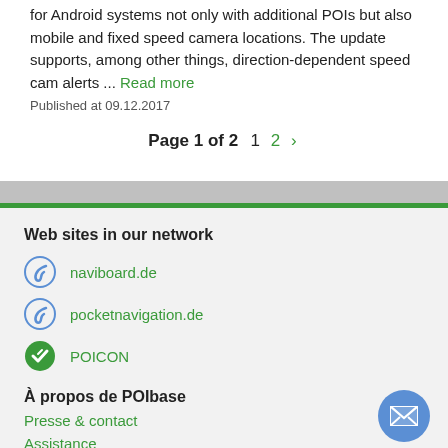for Android systems not only with additional POIs but also mobile and fixed speed camera locations. The update supports, among other things, direction-dependent speed cam alerts ... Read more
Published at 09.12.2017
Page 1 of 2  1  2  ›
Web sites in our network
naviboard.de
pocketnavigation.de
POICON
À propos de POIbase
Presse & contact
Assistance